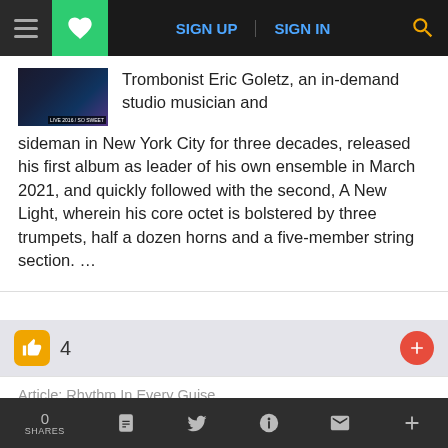Navigation bar with hamburger menu, heart/save button, SIGN UP, SIGN IN, and search icon
Trombonist Eric Goletz, an in-demand studio musician and sideman in New York City for three decades, released his first album as leader of his own ensemble in March 2021, and quickly followed with the second, A New Light, wherein his core octet is bolstered by three trumpets, half a dozen horns and a five-member string section. ...
4
Article: Rhythm In Every Guise
Nadav Snir-Zelniker: The Sound Of
0 SHARES | Facebook | Twitter | Reddit | Email | +